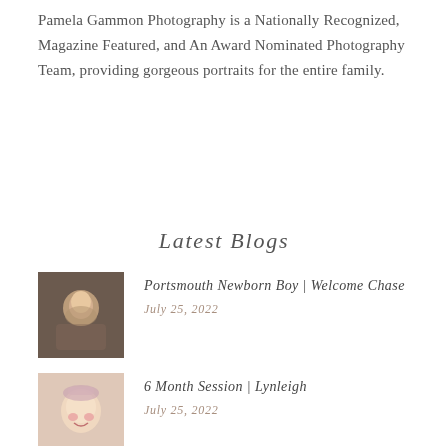Pamela Gammon Photography is a Nationally Recognized, Magazine Featured, and An Award Nominated Photography Team, providing gorgeous portraits for the entire family.
Latest Blogs
[Figure (photo): Thumbnail photo of a newborn baby boy wrapped in grey/brown fabric]
Portsmouth Newborn Boy | Welcome Chase
July 25, 2022
[Figure (photo): Thumbnail photo of a smiling baby girl with a headband]
6 Month Session | Lynleigh
July 25, 2022